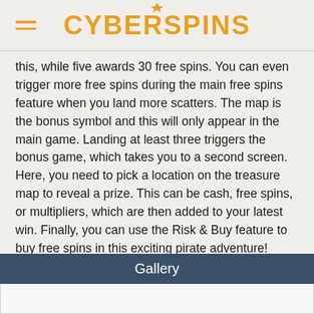CYBERSPINS
this, while five awards 30 free spins. You can even trigger more free spins during the main free spins feature when you land more scatters. The map is the bonus symbol and this will only appear in the main game. Landing at least three triggers the bonus game, which takes you to a second screen. Here, you need to pick a location on the treasure map to reveal a prize. This can be cash, free spins, or multipliers, which are then added to your latest win. Finally, you can use the Risk & Buy feature to buy free spins in this exciting pirate adventure!
Gallery